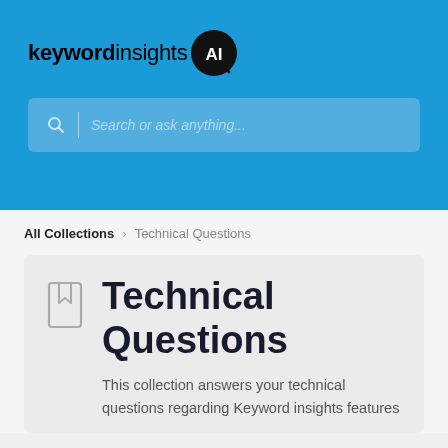[Figure (logo): Keyword Insights AI logo with bold 'keyword' text, regular 'insights' text, and a black circular AI badge with a magnifying glass]
[Figure (screenshot): Search input box with magnifying glass icon, vertical divider, and placeholder text 'Search or ask anything...']
All Collections > Technical Questions
[Figure (illustration): Gray bookmark/book icon]
Technical Questions
This collection answers your technical questions regarding Keyword insights features